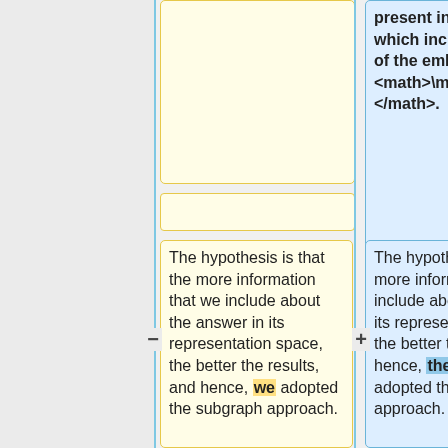present in the subgraph, which increases the size of the embedding matrix <math>\mathbf{W}</math>.
The hypothesis is that the more information that we include about the answer in its representation space, the better the results, and hence, we adopted the subgraph approach.
The hypothesis is that the more information that we include about the answer in its representation space, the better the results, and hence, the authors adopted the subgraph approach.